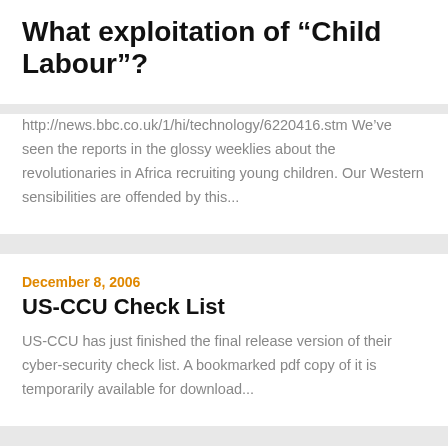What exploitation of “Child Labour”?
http://news.bbc.co.uk/1/hi/technology/6220416.stm We’ve seen the reports in the glossy weeklies about the revolutionaries in Africa recruiting young children. Our Western sensibilities are offended by this...
December 8, 2006
US-CCU Check List
US-CCU has just finished the final release version of their cyber-security check list. A bookmarked pdf copy of it is temporarily available for download...
December 1, 2006